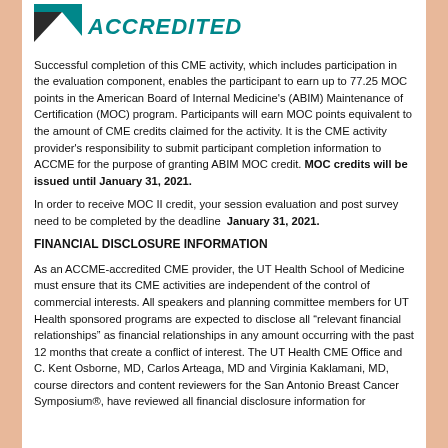[Figure (logo): ACCME Accredited logo with teal triangle shape and italic bold ACCREDITED text]
Successful completion of this CME activity, which includes participation in the evaluation component, enables the participant to earn up to 77.25 MOC points in the American Board of Internal Medicine's (ABIM) Maintenance of Certification (MOC) program. Participants will earn MOC points equivalent to the amount of CME credits claimed for the activity. It is the CME activity provider's responsibility to submit participant completion information to ACCME for the purpose of granting ABIM MOC credit. MOC credits will be issued until January 31, 2021.
In order to receive MOC II credit, your session evaluation and post survey need to be completed by the deadline  January 31, 2021.
FINANCIAL DISCLOSURE INFORMATION
As an ACCME-accredited CME provider, the UT Health School of Medicine must ensure that its CME activities are independent of the control of commercial interests. All speakers and planning committee members for UT Health sponsored programs are expected to disclose all “relevant financial relationships” as financial relationships in any amount occurring with the past 12 months that create a conflict of interest. The UT Health CME Office and C. Kent Osborne, MD, Carlos Arteaga, MD and Virginia Kaklamani, MD, course directors and content reviewers for the San Antonio Breast Cancer Symposium®, have reviewed all financial disclosure information for